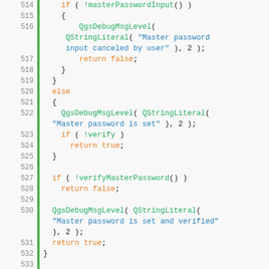[Figure (screenshot): Source code viewer showing C++ code lines 514-540 with syntax highlighting. Line numbers on the left, green gutter bar, code with orange keywords, green function names, blue string literals.]